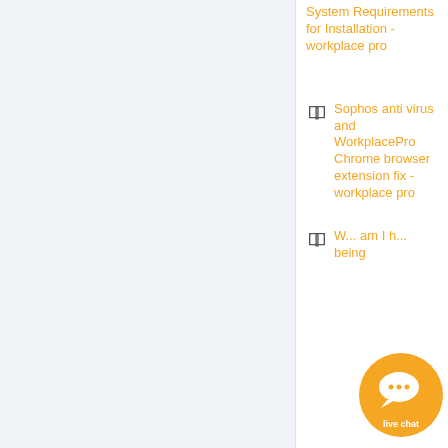System Requirements for Installation - workplace pro
Sophos anti virus and WorkplacePro Chrome browser extension fix - workplace pro
W... am I ... being
[Figure (illustration): Live chat widget bubble with speech bubble icon and three dots, orange circle with 'live chat' label]